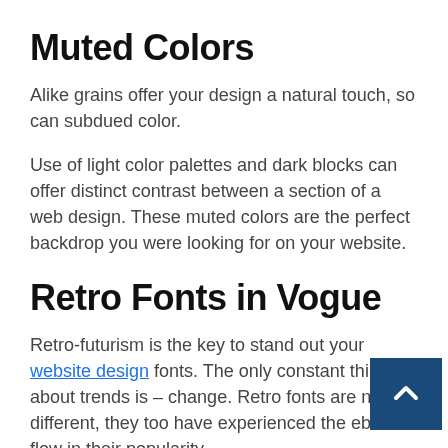Muted Colors
Alike grains offer your design a natural touch, so can subdued color.
Use of light color palettes and dark blocks can offer distinct contrast between a section of a web design. These muted colors are the perfect backdrop you were looking for on your website.
Retro Fonts in Vogue
Retro-futurism is the key to stand out your website design fonts. The only constant thing about trends is – change. Retro fonts are no different, they too have experienced the ebb and flow in their popularity.